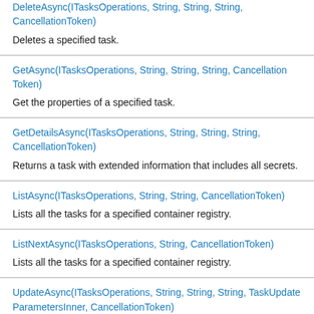| Method | Description |
| --- | --- |
| DeleteAsync(ITasksOperations, String, String, String, CancellationToken) | Deletes a specified task. |
| GetAsync(ITasksOperations, String, String, String, CancellationToken) | Get the properties of a specified task. |
| GetDetailsAsync(ITasksOperations, String, String, String, CancellationToken) | Returns a task with extended information that includes all secrets. |
| ListAsync(ITasksOperations, String, String, CancellationToken) | Lists all the tasks for a specified container registry. |
| ListNextAsync(ITasksOperations, String, CancellationToken) | Lists all the tasks for a specified container registry. |
| UpdateAsync(ITasksOperations, String, String, String, TaskUpdateParametersInner, CancellationToken) |  |